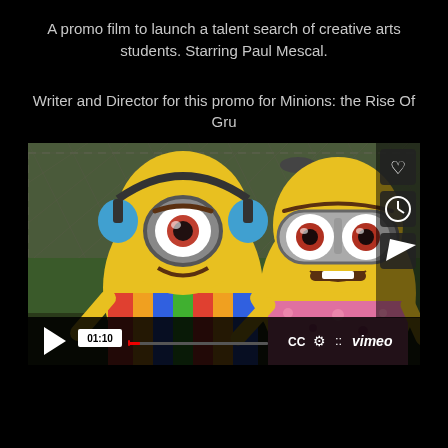A promo film to launch a talent search of creative arts students. Starring Paul Mescal.
Writer and Director for this promo for Minions: the Rise Of Gru
[Figure (screenshot): Vimeo video player showing two Minions characters (one with headphones, one with large round goggles) in front of a soccer goal fence. Bottom bar shows play button, timecode 01:10, progress bar, CC, settings, fullscreen icons, and Vimeo logo. Side panel has heart, clock, and send icons.]